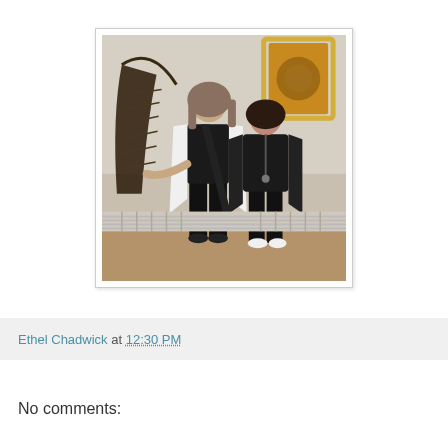[Figure (photo): Two people standing together in an ornate room. A tall man with long hair wearing a white jacket and black outfit stands next to a shorter woman in black clothing with a long necklace. A harp is visible on the left side behind them, and a framed artwork hangs on the wall behind them.]
Ethel Chadwick at 12:30 PM
No comments: